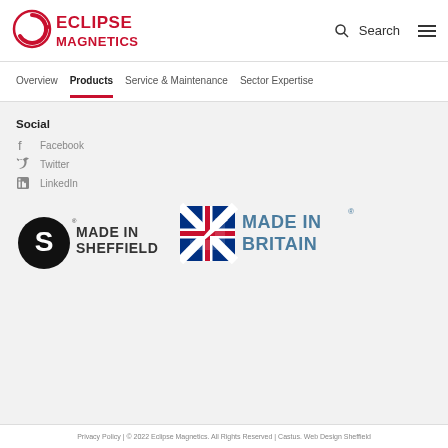[Figure (logo): Eclipse Magnetics logo — red circular icon with C shape and dots, red text reading ECLIPSE MAGNETICS]
Search
Overview  Products  Service & Maintenance  Sector Expertise
Social
Facebook
Twitter
LinkedIn
[Figure (logo): Made in Sheffield logo — circular S logo mark in black with text MADE IN SHEFFIELD]
[Figure (logo): Made in Britain logo — Union Jack arrow logo with text MADE IN BRITAIN with registered trademark symbol]
Privacy Policy | © 2022 Eclipse Magnetics. All Rights Reserved | Castus. Web Design Sheffield